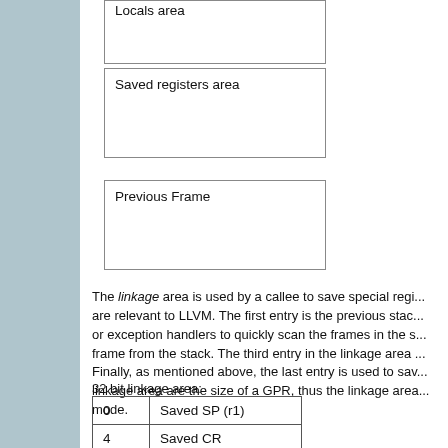[Figure (schematic): Stack frame diagram showing 'Locals area' box (partially visible at top), 'Saved registers area' box, a gap, and 'Previous Frame' box]
The linkage area is used by a callee to save special registers that are relevant to LLVM. The first entry is the previous stack pointer, or exception handlers to quickly scan the frames in the stack to pop a frame from the stack. The third entry in the linkage area ... Finally, as mentioned above, the last entry is used to save ... linkage area are the size of a GPR, thus the linkage area ... mode.
32 bit linkage area:
|  |  |
| --- | --- |
| 0 | Saved SP (r1) |
| 4 | Saved CR |
| 8 | Saved LR |